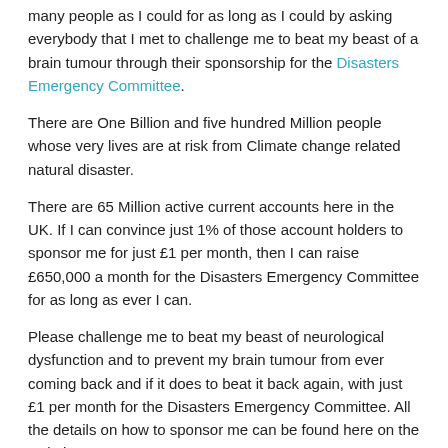many people as I could for as long as I could by asking everybody that I met to challenge me to beat my beast of a brain tumour through their sponsorship for the Disasters Emergency Committee.
There are One Billion and five hundred Million people whose very lives are at risk from Climate change related natural disaster.
There are 65 Million active current accounts here in the UK. If I can convince just 1% of those account holders to sponsor me for just £1 per month, then I can raise £650,000 a month for the Disasters Emergency Committee for as long as ever I can.
Please challenge me to beat my beast of neurological dysfunction and to prevent my brain tumour from ever coming back and if it does to beat it back again, with just £1 per month for the Disasters Emergency Committee. All the details on how to sponsor me can be found here on the website at https://www.beatthebeastchallenge.co.uk/index.php/sponsor-archie
To beat the beasts I am daily ensuring that I conduct the following: